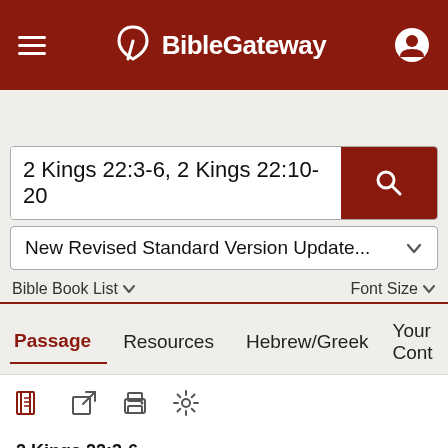BibleGateway
2 Kings 22:3-6, 2 Kings 22:10-20
New Revised Standard Version Update...
Bible Book List   Font Size
Passage   Resources   Hebrew/Greek   Your Cont
2 Kings 22:3-6
New Revised Standard Version Updated